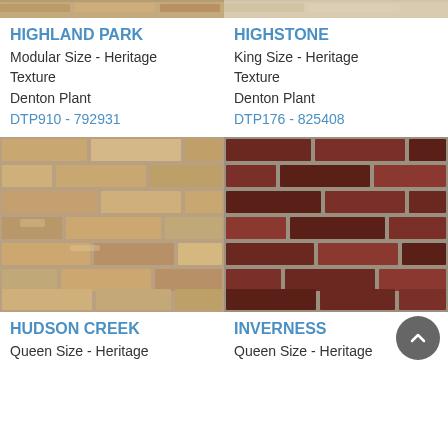[Figure (photo): Top partial view of Highland Park brick texture - tan/beige/brown tones]
[Figure (photo): Top partial view of Highstone brick texture - lighter tan tones]
HIGHLAND PARK
HIGHSTONE
Modular Size - Heritage Texture
King Size - Heritage Texture
Denton Plant
Denton Plant
DTP910 - 792931
DTP176 - 825408
[Figure (photo): Hudson Creek brick texture - sandy tan/beige tones with varied mortar joints]
[Figure (photo): Inverness brick texture - deep dark red/brown tones with lighter mortar]
HUDSON CREEK
INVERNESS
Queen Size - Heritage
Queen Size - Heritage